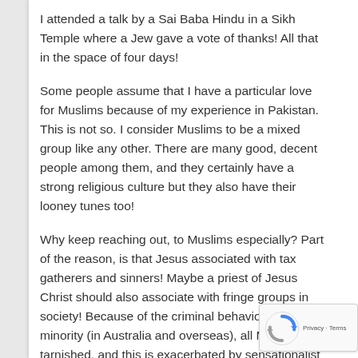I attended a talk by a Sai Baba Hindu in a Sikh Temple where a Jew gave a vote of thanks! All that in the space of four days!
Some people assume that I have a particular love for Muslims because of my experience in Pakistan. This is not so. I consider Muslims to be a mixed group like any other. There are many good, decent people among them, and they certainly have a strong religious culture but they also have their looney tunes too!
Why keep reaching out, to Muslims especially? Part of the reason, is that Jesus associated with tax gatherers and sinners! Maybe a priest of Jesus Christ should also associate with fringe groups in society! Because of the criminal behaviour of a tiny minority (in Australia and overseas), all Muslims get tarnished, and this is exacerbated by sensationalist media reporting. For me, it is a matter of ju... to stand by those who are falsely accused. With most